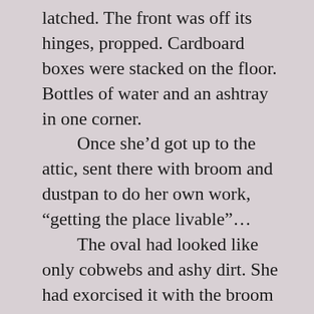latched. The front was off its hinges, propped. Cardboard boxes were stacked on the floor. Bottles of water and an ashtray in one corner.
	Once she’d got up to the attic, sent there with broom and dustpan to do her own work, “getting the place livable”…
	The oval had looked like only cobwebs and ashy dirt. She had exorcised it with the broom handle.